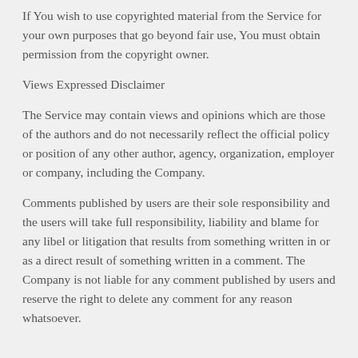If You wish to use copyrighted material from the Service for your own purposes that go beyond fair use, You must obtain permission from the copyright owner.
Views Expressed Disclaimer
The Service may contain views and opinions which are those of the authors and do not necessarily reflect the official policy or position of any other author, agency, organization, employer or company, including the Company.
Comments published by users are their sole responsibility and the users will take full responsibility, liability and blame for any libel or litigation that results from something written in or as a direct result of something written in a comment. The Company is not liable for any comment published by users and reserve the right to delete any comment for any reason whatsoever.